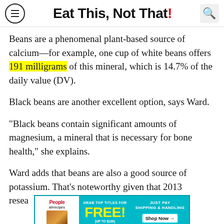Eat This, Not That!
Beans are a phenomenal plant-based source of calcium—for example, one cup of white beans offers 191 milligrams of this mineral, which is 14.7% of the daily value (DV).
Black beans are another excellent option, says Ward.
"Black beans contain significant amounts of magnesium, a mineral that is necessary for bone health," she explains.
Ward adds that beans are also a good source of potassium. That's noteworthy given that 2013 resea... that potas...
[Figure (other): Advertisement banner: Grab top titles for FREE! (Up to $100) Just Pay Shipping & Handling. Shop Now. Features People and allrecipes magazine logos.]